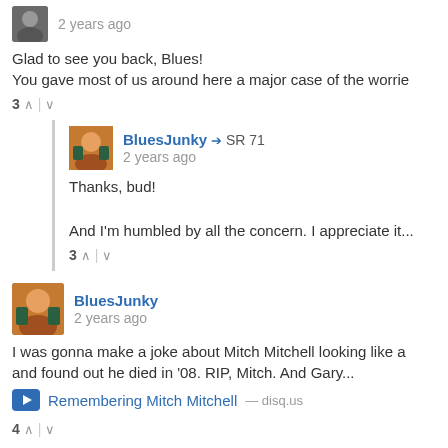2 years ago
Glad to see you back, Blues!
You gave most of us around here a major case of the worrie
3 ^ | v
BluesJunky → SR 71
2 years ago
Thanks, bud!

And I'm humbled by all the concern. I appreciate it...
3 ^ | v
BluesJunky
2 years ago
I was gonna make a joke about Mitch Mitchell looking like a
and found out he died in '08. RIP, Mitch. And Gary...
Remembering Mitch Mitchell — disq.us
4 ^ | v
Swampy
2 years ago